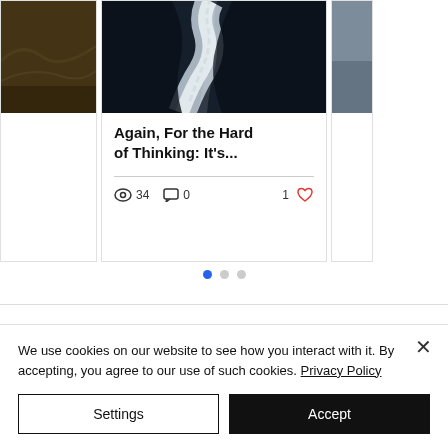[Figure (photo): Partial left card with dark brownish outdoor photo]
[Figure (photo): Center card with dark aerial photo of snow-covered winding road]
Again, For the Hard of Thinking: It's...
34 views, 0 comments, 1 like
[Figure (photo): Partial right card with grayish blue photo]
We use cookies on our website to see how you interact with it. By accepting, you agree to our use of such cookies. Privacy Policy
Settings | Accept